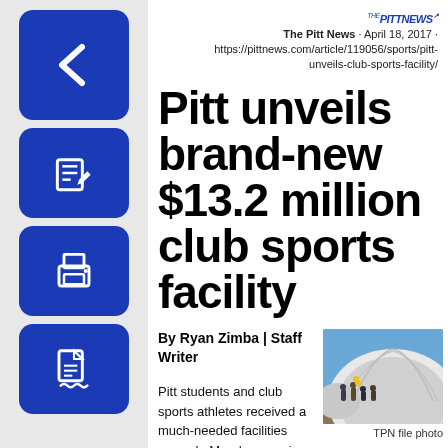[Figure (screenshot): Blue icon button with white left arrow (back navigation button)]
The Pitt News · April 18, 2017 · https://pittnews.com/article/119056/sports/pitt-unveils-club-sports-facility/
[Figure (screenshot): Blue icon button with The Pitt News logo (newspaper/edit icon)]
[Figure (screenshot): Blue icon button with printer icon]
[Figure (screenshot): Blue icon button with PDF/document icon]
Pitt unveils brand-new $13.2 million club sports facility
By Ryan Zimba | Staff Writer
Pitt students and club sports athletes received a much-needed facilities upgrade Monday morning, as the University officially
[Figure (photo): Photo of people standing near a large white inflatable dome structure outdoors under blue sky]
TPN file photo